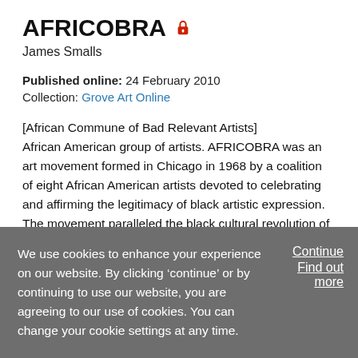AFRICOBRA
James Smalls
Published online: 24 February 2010
Collection: Grove Art Online
[African Commune of Bad Relevant Artists] African American group of artists. AFRICOBRA was an art movement formed in Chicago in 1968 by a coalition of eight African American artists devoted to celebrating and affirming the legitimacy of black artistic expression. The movement paralleled the black cultural revolution of the 1960s and incorporated elements of free jazz, vibrant color, the spiritual or transcendental, and "TransAfricanism". The
We use cookies to enhance your experience on our website. By clicking 'continue' or by continuing to use our website, you are agreeing to our use of cookies. You can change your cookie settings at any time.
Continue
Find out more